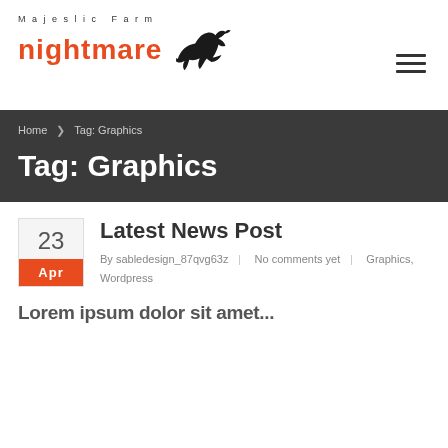[Figure (logo): Majestic Farm nightmare logo with galloping horse silhouette]
Home ❯ Tag: Graphics
Tag: Graphics
Latest News Post
By sabledesign_87qvg63z | No comments yet | Graphics, Wordpress